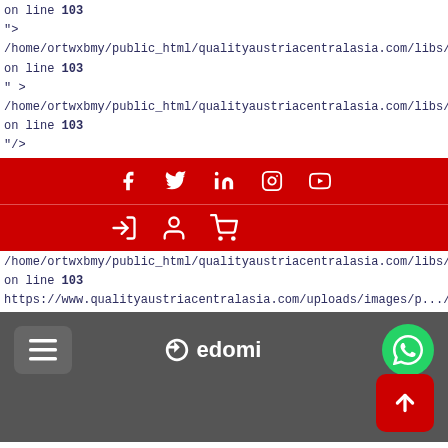on line 103
">
/home/ortwxbmy/public_html/qualityaustriacentralasia.com/libs/fronten
on line 103
" >
/home/ortwxbmy/public_html/qualityaustriacentralasia.com/libs/fronten
on line 103
"/>
[Figure (screenshot): Red social media bar with Facebook, Twitter, LinkedIn, Instagram, YouTube icons in white]
[Figure (screenshot): Red navigation bar with login, user, and cart icons]
/home/ortwxbmy/public_html/qualityaustriacentralasia.com/libs/fronten
on line 103
https://www.qualityaustriacentralasia.com/uploads/images/p.../banne
[Figure (screenshot): Gray navbar with hamburger menu on left, Sedomi logo in center, WhatsApp green button on right, and red scroll-to-top button at bottom right]